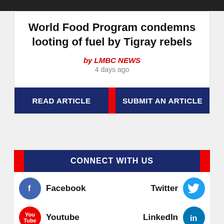[Figure (photo): Dark photo strip at top of page]
World Food Program condemns looting of fuel by Tigray rebels
by LMBC NEWS
4 days ago
READ ARTICLE | SUBMIT AN ARTICLE
CONNECT WITH US
Facebook
Twitter
Youtube
LinkedIn
Instagram
Whatsapp